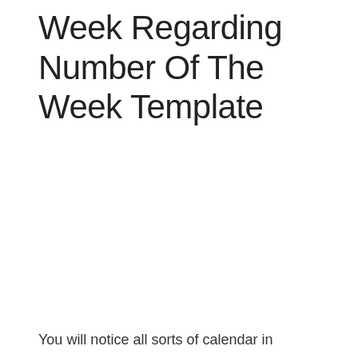Week Regarding Number Of The Week Template
You will notice all sorts of calendar in